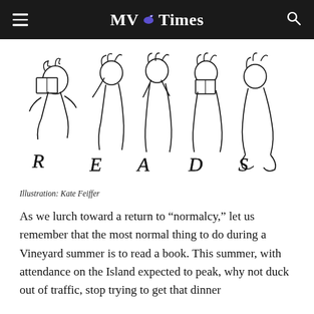MV Times
[Figure (illustration): Black and white line illustration of several whimsical figures reading books, with letters spelling out 'READS' integrated into the drawing]
Illustration: Kate Feiffer
As we lurch toward a return to “normalcy,” let us remember that the most normal thing to do during a Vineyard summer is to read a book. This summer, with attendance on the Island expected to peak, why not duck out of traffic, stop trying to get that dinner